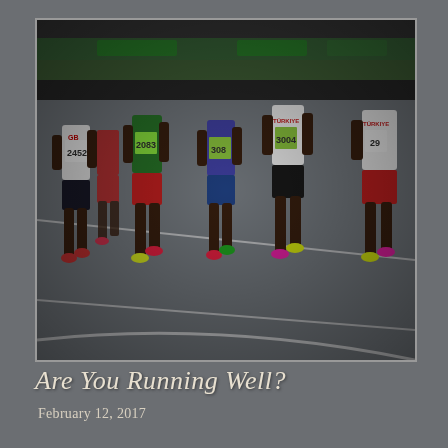[Figure (photo): Photograph of a group of competitive runners on an athletic track, seen from behind. Athletes wear numbered bibs: 2452, 2083, 308, 3004, 29. Several runners wear jerseys labeled TÜRKIYE. The runners are wearing colorful running shoes including pink and yellow. The track is gray with white lane markings and a green infield visible in the background.]
Are You Running Well?
February 12, 2017